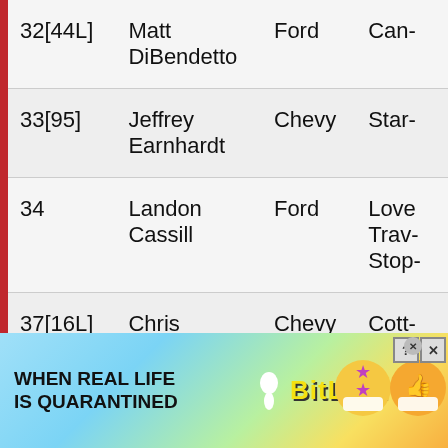| # | Driver | Make | Sponsor |
| --- | --- | --- | --- |
| 32[44L] | Matt DiBendetto | Ford | Can-... |
| 33[95] | Jeffrey Earnhardt | Chevy | Star-... |
| 34 | Landon Cassill | Ford | Love Travel Stop-... |
| 37[16L] | Chris Buescher | Chevy | Cott-... |
| 38 | David Ragan | Ford | Juice-... |
[Figure (infographic): BitLife app advertisement banner. Rainbow gradient background. Text: WHEN REAL LIFE IS QUARANTINED. BitLife logo in yellow. Emoji characters with masks and stars.]